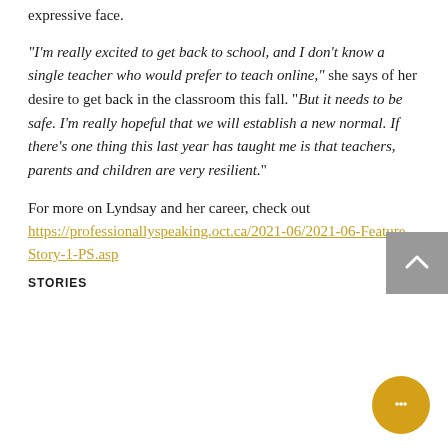expressive face.
“I’m really excited to get back to school, and I don’t know a single teacher who would prefer to teach online,” she says of her desire to get back in the classroom this fall. “But it needs to be safe. I’m really hopeful that we will establish a new normal. If there’s one thing this last year has taught me is that teachers, parents and children are very resilient.”
For more on Lyndsay and her career, check out https://professionallyspeaking.oct.ca/2021-06/2021-06-Feature-Story-1-PS.asp
STORIES